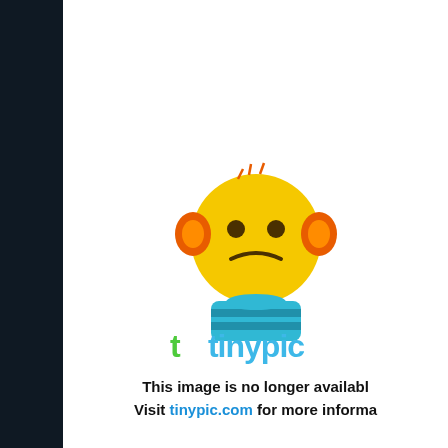[Figure (illustration): Tinypic broken image placeholder showing yellow sad face mascot with orange ears and blue body, with text 'This image is no longer available. Visit tinypic.com for more information.']
Top
profile
Post subject: Re: Official Weapon Suggestion Thread
Posted: Tue Jan 21, 2014 7:58 pm
Bigdaddy
offline
Captain
Quote:
Now, the Mk19 is a little on the heavy side at 68 pounds, but if the game gave you the option of playing as me, this wont be too much of a problem
lol. 😄